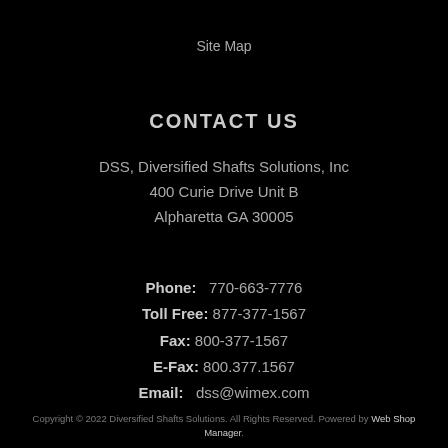Site Map
CONTACT US
DSS, Diversified Shafts Solutions, Inc
400 Curie Drive Unit B
Alpharetta GA 30005
Phone:   770-663-7776
Toll Free: 877-377-1567
Fax: 800-377-1567
E-Fax: 800.377.1567
Email:   dss@wimex.com
Copyright © 2022 Diversified Shafts Solutions. All Rights Reserved. Powered by Web Shop Manager.